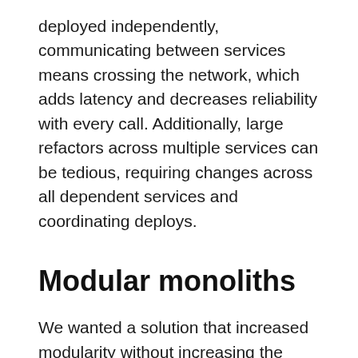deployed independently, communicating between services means crossing the network, which adds latency and decreases reliability with every call. Additionally, large refactors across multiple services can be tedious, requiring changes across all dependent services and coordinating deploys.
Modular monoliths
We wanted a solution that increased modularity without increasing the number of deployment units, allowing us to get the advantages of both